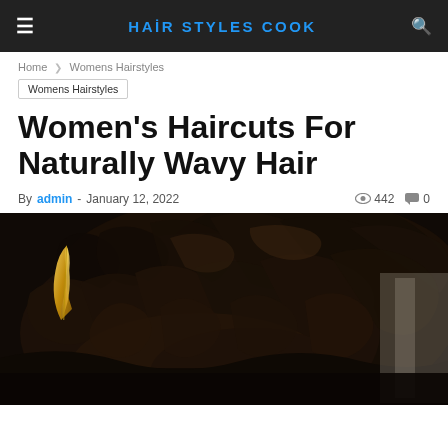HAIR STYLES COOK
Home > Womens Hairstyles
Womens Hairstyles
Women's Haircuts For Naturally Wavy Hair
By admin - January 12, 2022  442  0
[Figure (photo): Close-up photo of a woman with naturally wavy/curly dark hair, with a golden feather logo visible in the upper left corner]